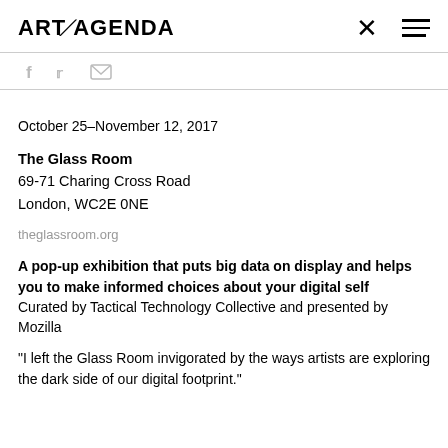ART/AGENDA
[Figure (other): Social share icons: Facebook, Twitter, Email]
October 25–November 12, 2017
The Glass Room
69-71 Charing Cross Road
London, WC2E 0NE
theglassroom.org
A pop-up exhibition that puts big data on display and helps you to make informed choices about your digital self
Curated by Tactical Technology Collective and presented by Mozilla
"I left the Glass Room invigorated by the ways artists are exploring the dark side of our digital footprint."